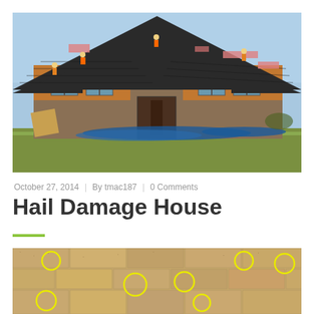[Figure (photo): Workers replacing the roof of a large ranch-style house after hail damage. Several workers visible on the dark shingle roof. House has wood siding and stone columns. Blue tarps on the ground around the house to catch debris.]
October 27, 2014  |  By tmac187  |  0 Comments
Hail Damage House
[Figure (photo): Close-up of tan/brown roof shingles with multiple yellow circles drawn on them to highlight hail impact damage marks on the shingles.]